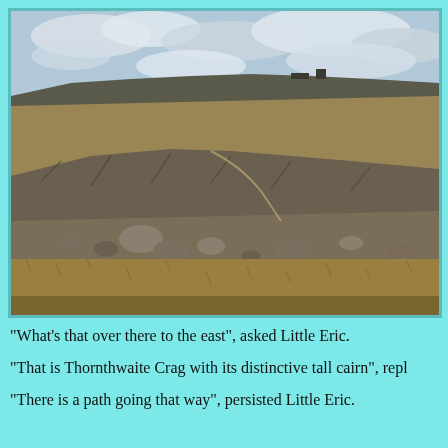[Figure (photo): Landscape photograph of a moorland hillside with rocky outcrops in the foreground, grassy slopes, and a ridge at the top with a small building or cairn visible on the skyline. Cloudy sky in the background.]
"What's that over there to the east", asked Little Eric.
"That is Thornthwaite Crag with its distinctive tall cairn", repl...
"There is a path going that way", persisted Little Eric.